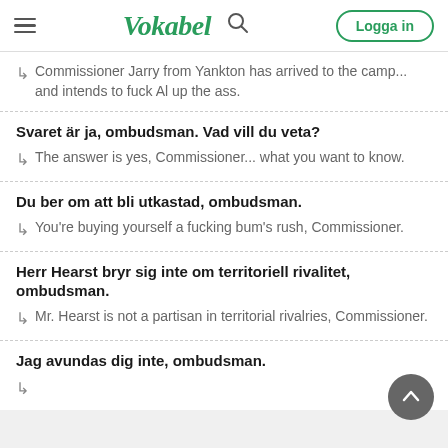Vokabel — Logga in
Commissioner Jarry from Yankton has arrived to the camp... and intends to fuck Al up the ass.
Svaret är ja, ombudsman. Vad vill du veta?
The answer is yes, Commissioner... what you want to know.
Du ber om att bli utkastad, ombudsman.
You're buying yourself a fucking bum's rush, Commissioner.
Herr Hearst bryr sig inte om territoriell rivalitet, ombudsman.
Mr. Hearst is not a partisan in territorial rivalries, Commissioner.
Jag avundas dig inte, ombudsman.